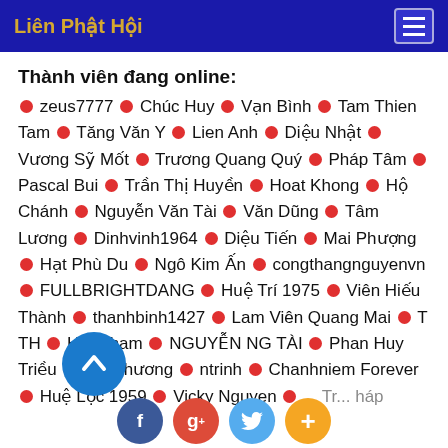Liên Phật Hội
Thành viên đang online:
zeus7777 • Chúc Huy • Vạn Bình • Tam Thien Tam • Tăng Văn Y • Lien Anh • Diệu Nhật • Vương Sỹ Mốt • Trương Quang Quý • Pháp Tâm • Pascal Bui • Trần Thị Huyền • Hoat Khong • Hộ Chánh • Nguyễn Văn Tài • Văn Dũng • Tâm Lương • Dinhvinh1964 • Diệu Tiến • Mai Phượng • Hạt Phù Du • Ngô Kim Ấn • congthangnguyenvn • FULLBRIGHTDANG • Huệ Trí 1975 • Viên Hiếu Thành • thanhbinh1427 • Lam Viên Quang Mai • T TH • HoaPham • NGUYỄN NG TÀI • Phan Huy Triều • van chương • ntrinh • Chanhniem Forever • Huệ Lộc 1959 • Vicky Nguyen • ...